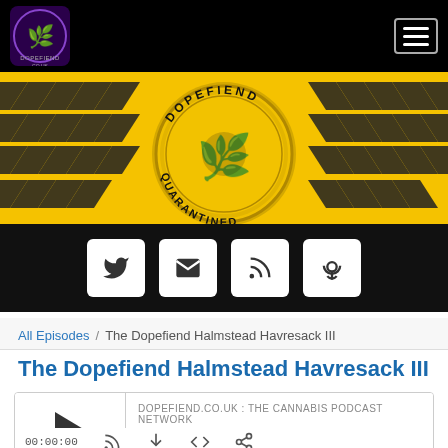[Figure (screenshot): Navigation bar with Dopefiend.co.uk logo on left and hamburger menu on right, black background]
[Figure (illustration): Yellow and black hazard chevron banner with Dopefiend Quarantined gold seal logo in center]
[Figure (screenshot): Social media icon buttons row on black background: Twitter, Email, RSS, Podcast]
All Episodes / The Dopefiend Halmstead Havresack III
The Dopefiend Halmstead Havresack III
[Figure (screenshot): Podcast player widget showing DOPEFIEND.CO.UK : THE CANNABIS PODCAST NETWORK, title The Dopefiend Halmstead Havresack III, play button and progress bar]
00:00:00